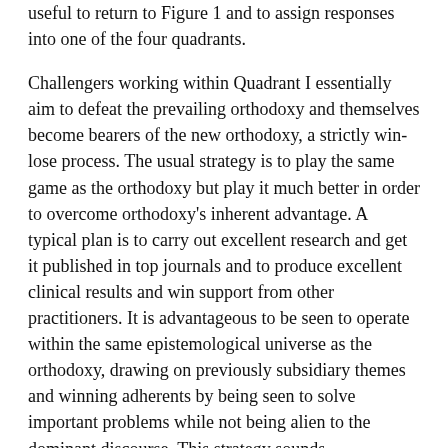useful to return to Figure 1 and to assign responses into one of the four quadrants.
Challengers working within Quadrant I essentially aim to defeat the prevailing orthodoxy and themselves become bearers of the new orthodoxy, a strictly win-lose process. The usual strategy is to play the same game as the orthodoxy but play it much better in order to overcome orthodoxy's inherent advantage. A typical plan is to carry out excellent research and get it published in top journals and to produce excellent clinical results and win support from other practitioners. It is advantageous to be seen to operate within the same epistemological universe as the orthodoxy, drawing on previously subsidiary themes and winning adherents by being seen to solve important problems while not being alien to the dominant discourse. This strategy sounds straightforward but can still be difficult to bring off. An example is the theory that many gastric and duodenal ulcers are caused by infection. The proponents of